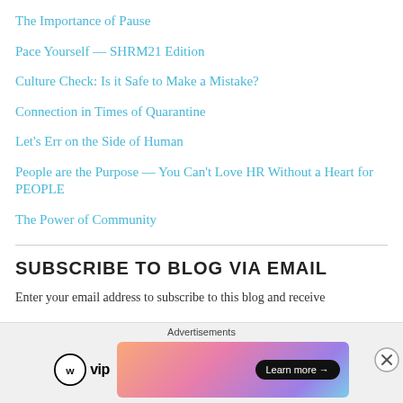The Importance of Pause
Pace Yourself — SHRM21 Edition
Culture Check: Is it Safe to Make a Mistake?
Connection in Times of Quarantine
Let's Err on the Side of Human
People are the Purpose — You Can't Love HR Without a Heart for PEOPLE
The Power of Community
SUBSCRIBE TO BLOG VIA EMAIL
Enter your email address to subscribe to this blog and receive
Advertisements
[Figure (infographic): WordPress VIP logo on the left and a colorful gradient advertisement banner with a 'Learn more →' button on the right.]